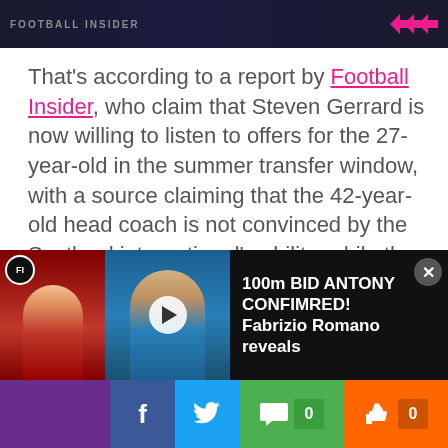Football Insider header banner
That's according to a report by Football Insider, who claim that Steven Gerrard is now willing to listen to offers for the 27-year-old in the summer transfer window, with a source claiming that the 42-year-old head coach is not convinced by the Scotland international's ability, while the midfielder himself is said to be difficult to manage behind the scenes.
[Figure (screenshot): Video thumbnail showing two people, with play button overlay and text '100m BID ANTONY CONFIMRED! Fabrizio Romano reveals']
[Figure (infographic): Social sharing bar with purple, Facebook (f), Twitter (bird), comment (chat bubble with 0), and like (thumbs up with 0) buttons]